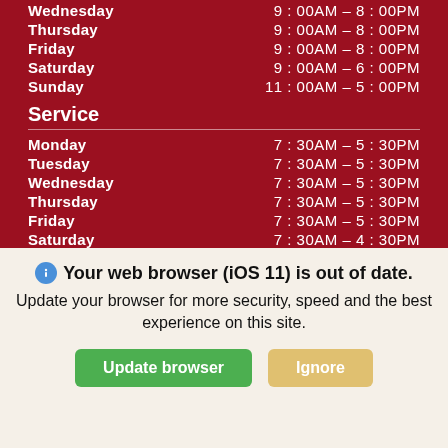Wednesday   9:00AM – 8:00PM
Thursday   9:00AM – 8:00PM
Friday   9:00AM – 8:00PM
Saturday   9:00AM – 6:00PM
Sunday   11:00AM – 5:00PM
Service
Monday   7:30AM – 5:30PM
Tuesday   7:30AM – 5:30PM
Wednesday   7:30AM – 5:30PM
Thursday   7:30AM – 5:30PM
Friday   7:30AM – 5:30PM
Saturday   7:30AM – 4:30PM
Sunday   Closed
Parts
Monday   7:30AM – 5:00PM
Tuesday   7:30AM – 5:00PM
Wednesday   7:30AM – 5:00PM
Your web browser (iOS 11) is out of date. Update your browser for more security, speed and the best experience on this site.